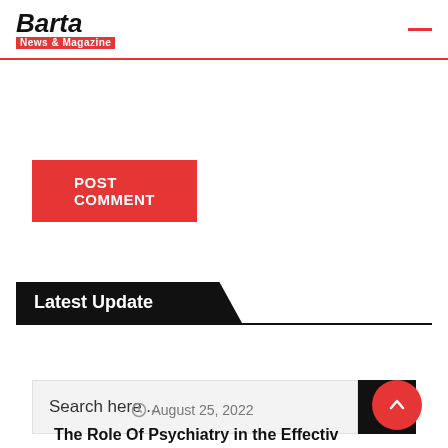[Figure (logo): Barta News & Magazine logo with bold italic text and red banner]
POST COMMENT
Search here ...
Latest Update
RECENT | POPULAR | COMMON
August 25, 2022
The Role Of Psychiatry in the Effective